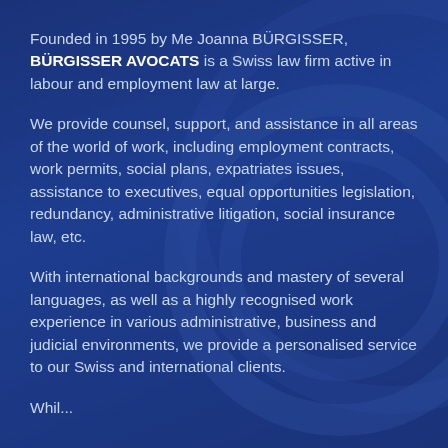Founded in 1995 by Me Joanna BÜRGISSER, BÜRGISSER AVOCATS is a Swiss law firm active in labour and employment law at large.
We provide counsel, support, and assistance in all areas of the world of work, including employment contracts, work permits, social plans, expatriates issues, assistance to executives, equal opportunities legislation, redundancy, administrative litigation, social insurance law, etc.
With international backgrounds and mastery of several languages, as well as a highly recognised work experience in various administrative, business and judicial environments, we provide a personalised service to our Swiss and international clients.
Whil...